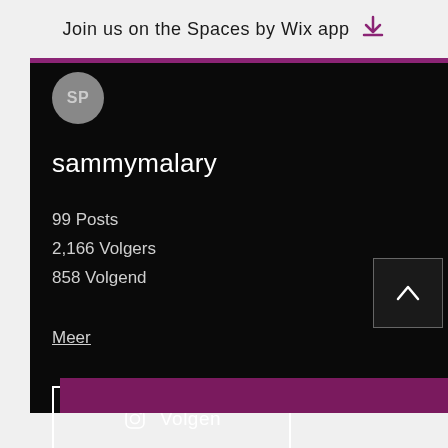Join us on the Spaces by Wix app
[Figure (screenshot): User profile avatar circle with initials SP on dark background]
sammymalary
99 Posts
2,166 Volgers
858 Volgend
Meer
Volgen